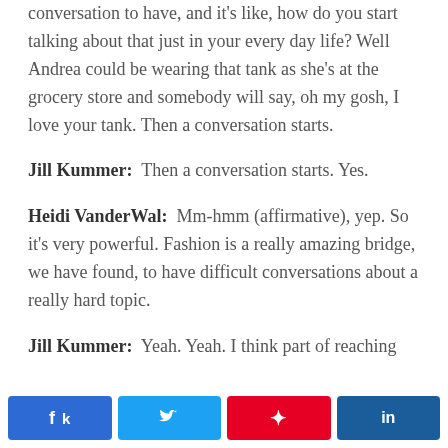conversation to have, and it's like, how do you start talking about that just in your every day life? Well Andrea could be wearing that tank as she's at the grocery store and somebody will say, oh my gosh, I love your tank. Then a conversation starts.
Jill Kummer:  Then a conversation starts. Yes.
Heidi VanderWal:  Mm-hmm (affirmative), yep. So it's very powerful. Fashion is a really amazing bridge, we have found, to have difficult conversations about a really hard topic.
Jill Kummer:  Yeah. Yeah. I think part of reaching